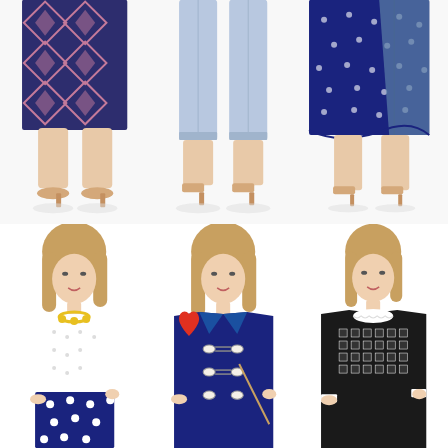[Figure (photo): Fashion collage: top row shows three women's lower bodies wearing different outfits — a geometric patterned pencil skirt, light blue cropped trousers, and a navy polka dot dress with denim overlay, all paired with nude heels. Bottom row shows three full upper-body shots of the same blonde model in three outfits — a white polka dot sleeveless top with yellow necklace and navy polka dot skirt, a navy toggle coat over a light blue top with a red heart graphic, and a black geometric patterned sweater with white collar lace detail.]